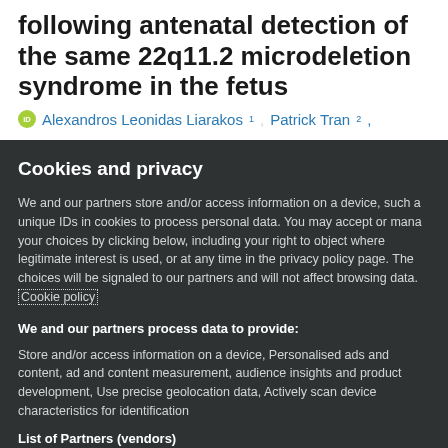following antenatal detection of the same 22q11.2 microdeletion syndrome in the fetus
Alexandros Leonidas Liarakos 1 , Patrick Tran 2 ,
Cookies and privacy
We and our partners store and/or access information on a device, such as unique IDs in cookies to process personal data. You may accept or manage your choices by clicking below, including your right to object where legitimate interest is used, or at any time in the privacy policy page. These choices will be signaled to our partners and will not affect browsing data. Cookie policy
We and our partners process data to provide:
Store and/or access information on a device, Personalised ads and content, ad and content measurement, audience insights and product development, Use precise geolocation data, Actively scan device characteristics for identification
List of Partners (vendors)